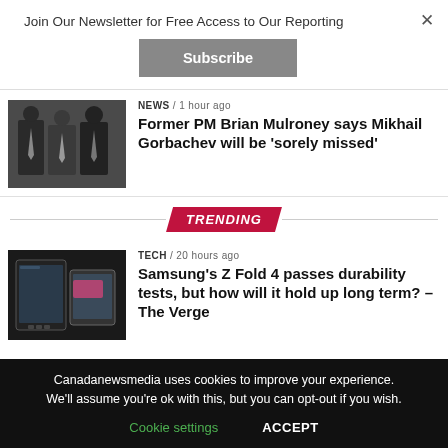Join Our Newsletter for Free Access to Our Reporting
Subscribe
NEWS / 1 hour ago
Former PM Brian Mulroney says Mikhail Gorbachev will be 'sorely missed'
[Figure (photo): Three men in suits standing together]
TRENDING
TECH / 20 hours ago
Samsung's Z Fold 4 passes durability tests, but how will it hold up long term? – The Verge
[Figure (photo): Samsung Z Fold 4 device on dark background]
Canadanewsmedia uses cookies to improve your experience. We'll assume you're ok with this, but you can opt-out if you wish.
Cookie settings
ACCEPT